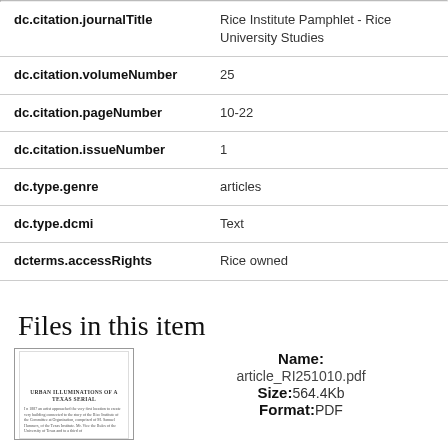| Field | Value |
| --- | --- |
| dc.citation.journalTitle | Rice Institute Pamphlet - Rice University Studies |
| dc.citation.volumeNumber | 25 |
| dc.citation.pageNumber | 10-22 |
| dc.citation.issueNumber | 1 |
| dc.type.genre | articles |
| dc.type.dcmi | Text |
| dcterms.accessRights | Rice owned |
Files in this item
[Figure (photo): Thumbnail of article_RI251010.pdf document page]
Name: article_RI251010.pdf Size:564.4Kb Format:PDF